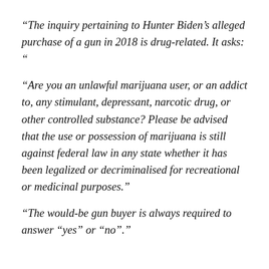“The inquiry pertaining to Hunter Biden’s alleged purchase of a gun in 2018 is drug-related. It asks: “
“Are you an unlawful marijuana user, or an addict to, any stimulant, depressant, narcotic drug, or other controlled substance? Please be advised that the use or possession of marijuana is still against federal law in any state whether it has been legalized or decriminalised for recreational or medicinal purposes.”
“The would-be gun buyer is always required to answer “yes” or “no”.”